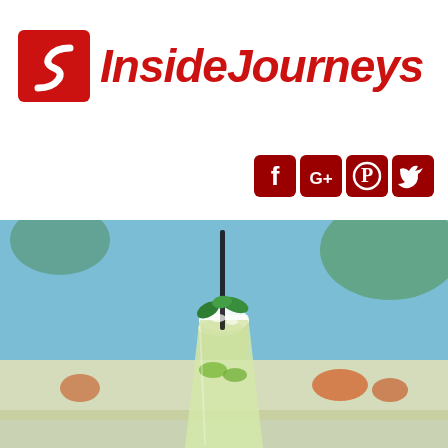[Figure (logo): InsideJourneys logo with red S-curve icon and italic red brand name text]
[Figure (infographic): Social media icons: Facebook, Google+, Pinterest, Twitter — all in dark red/crimson on rounded square backgrounds]
[Figure (photo): Photo of a mojito cocktail with crushed ice, mint leaves and a black straw, with a blurred tropical poolside background]